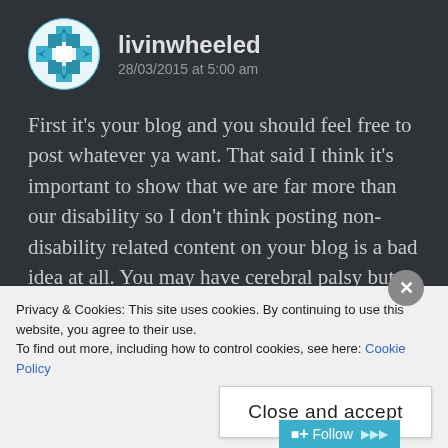[Figure (illustration): Circular avatar with teal geometric/snowflake pattern on white background for user livinwheeled]
livinwheeled
28/03/2015 at 5:00 am
First it’s your blog and you should feel free to post whatever ya want. That said I think it’s important to show that we are far more than our disability so I don’t think posting non-disability related content on your blog is a bad idea at all. You may have cerebral palsy but you are still human and love all the things humans love.
★ Like
Privacy & Cookies: This site uses cookies. By continuing to use this website, you agree to their use.
To find out more, including how to control cookies, see here: Cookie Policy
Close and accept